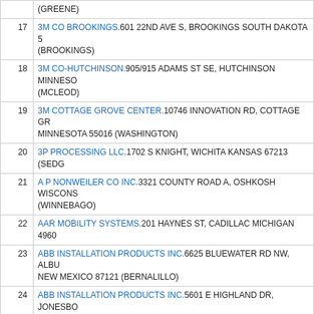| # | Facility Name and Address |
| --- | --- |
|  | (GREENE) |
| 17 | 3M CO BROOKINGS.601 22ND AVE S, BROOKINGS SOUTH DAKOTA 5... (BROOKINGS) |
| 18 | 3M CO-HUTCHINSON.905/915 ADAMS ST SE, HUTCHINSON MINNESOTA... (MCLEOD) |
| 19 | 3M COTTAGE GROVE CENTER.10746 INNOVATION RD, COTTAGE GR... MINNESOTA 55016 (WASHINGTON) |
| 20 | 3P PROCESSING LLC.1702 S KNIGHT, WICHITA KANSAS 67213 (SEDG... |
| 21 | A P NONWEILER CO INC.3321 COUNTY ROAD A, OSHKOSH WISCONS... (WINNEBAGO) |
| 22 | AAR MOBILITY SYSTEMS.201 HAYNES ST, CADILLAC MICHIGAN 4960... |
| 23 | ABB INSTALLATION PRODUCTS INC.6625 BLUEWATER RD NW, ALBU... NEW MEXICO 87121 (BERNALILLO) |
| 24 | ABB INSTALLATION PRODUCTS INC.5601 E HIGHLAND DR, JONESBO... ARKANSAS 72401 (CRAIGHEAD) |
| 25 | ABBVIE-NORTH CH ICAGO FACILITY.1401 SHERIDAN RD, NORTH CH... ILLINOIS 60064 (LAKE) |
| 26 | ABERDEEN ENERGY LLC.13435 370TH AVENUE, MINA SOUTH DAKOT... (EDMUNDS) |
| 27 | ABSOLUTE ENERGY LLC.1372 STATE LINE RD, SAINT ANSGAR IOWA... (MITCHELL) |
| 28 | ACCURATE DISPERSIONS.192 W 155TH ST, SOUTH HOLLAND ILLINO... (COOK) |